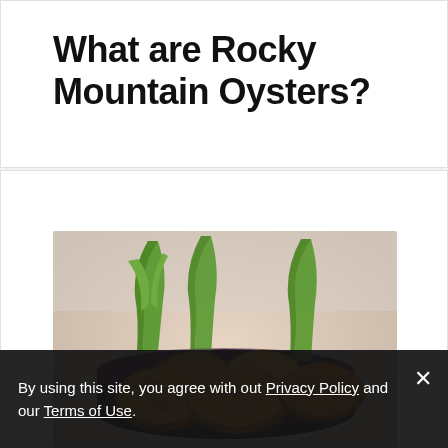What are Rocky Mountain Oysters?
[Figure (photo): A plate of fried Rocky Mountain Oysters (breaded and deep-fried) in a dark bowl, garnished with green leafy vegetables, photographed close-up.]
By using this site, you agree with out Privacy Policy and our Terms of Use.